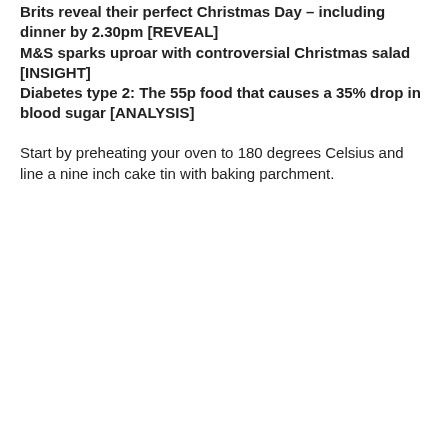Brits reveal their perfect Christmas Day – including dinner by 2.30pm [REVEAL]
M&S sparks uproar with controversial Christmas salad [INSIGHT]
Diabetes type 2: The 55p food that causes a 35% drop in blood sugar [ANALYSIS]
Start by preheating your oven to 180 degrees Celsius and line a nine inch cake tin with baking parchment.